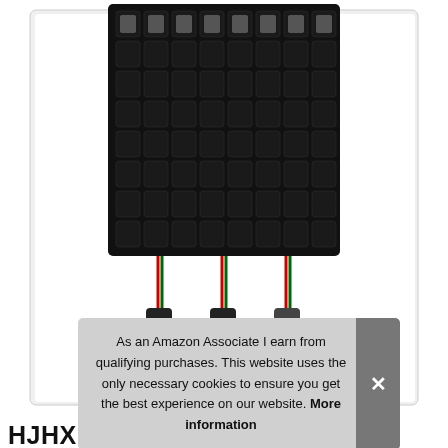[Figure (photo): An 8x8 LED matrix panel (WS2812B type) on a black PCB with red and green wires hanging from the bottom connected to two connectors.]
As an Amazon Associate I earn from qualifying purchases. This website uses the only necessary cookies to ensure you get the best experience on our website. More information
HJHX WS2812B 8x8 LED Matrix